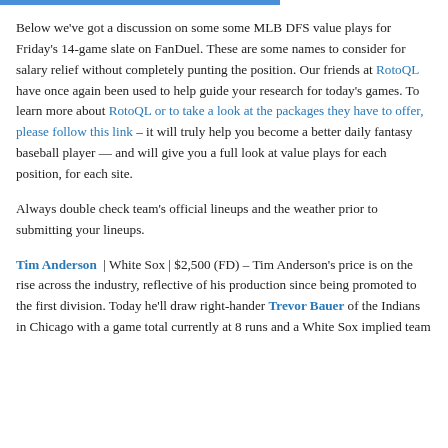Below we've got a discussion on some some MLB DFS value plays for Friday's 14-game slate on FanDuel. These are some names to consider for salary relief without completely punting the position. Our friends at RotoQL have once again been used to help guide your research for today's games. To learn more about RotoQL or to take a look at the packages they have to offer, please follow this link – it will truly help you become a better daily fantasy baseball player — and will give you a full look at value plays for each position, for each site.
Always double check team's official lineups and the weather prior to submitting your lineups.
Tim Anderson | White Sox | $2,500 (FD) – Tim Anderson's price is on the rise across the industry, reflective of his production since being promoted to the first division. Today he'll draw right-hander Trevor Bauer of the Indians in Chicago with a game total currently at 8 runs and a White Sox implied team